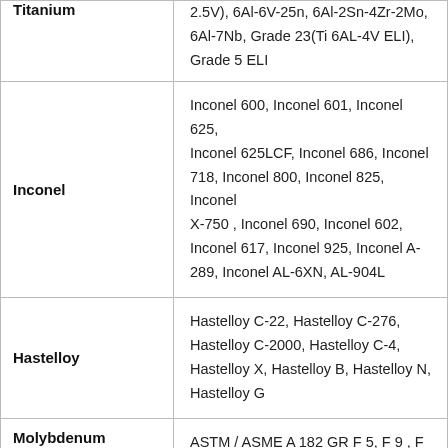| Material | Grades / Specifications |
| --- | --- |
| Titanium | 2.5V), 6Al-6V-25n, 6Al-2Sn-4Zr-2Mo, 6Al-7Nb, Grade 23(Ti 6AL-4V ELI), Grade 5 ELI |
| Inconel | Inconel 600, Inconel 601, Inconel 625, Inconel 625LCF, Inconel 686, Inconel 718, Inconel 800, Inconel 825, Inconel X-750 , Inconel 690, Inconel 602, Inconel 617, Inconel 925, Inconel A-289, Inconel AL-6XN, AL-904L |
| Hastelloy | Hastelloy C-22, Hastelloy C-276, Hastelloy C-2000, Hastelloy C-4, Hastelloy X, Hastelloy B, Hastelloy N, Hastelloy G |
| Molybdenum | ASTM / ASME A 182 GR F 5, F 9 , F 11 , F 12 , F 22, F 91, ASTM B387, Ferro... |